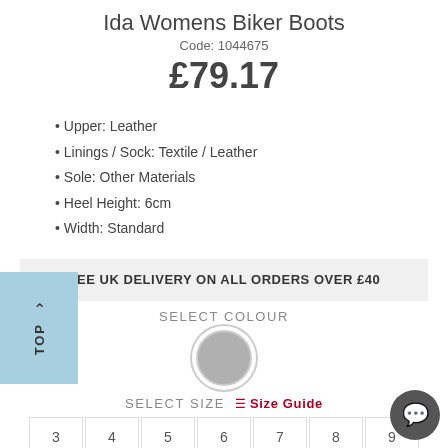Ida Womens Biker Boots
Code: 1044675
£79.17
Upper: Leather
Linings / Sock: Textile / Leather
Sole: Other Materials
Heel Height: 6cm
Width: Standard
FREE UK DELIVERY ON ALL ORDERS OVER £40
SELECT COLOUR
[Figure (other): Grey colour swatch circle]
SELECT SIZE  Size Guide
3  4  5  6  7  8  9